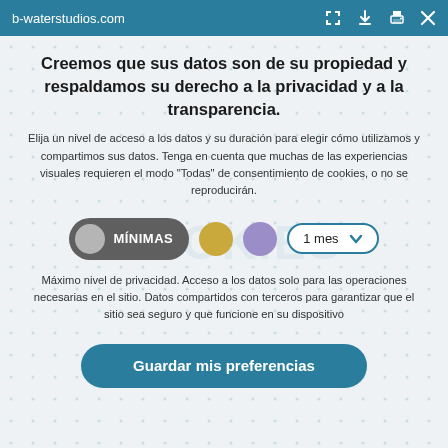b-waterstudios.com
Creemos que sus datos son de su propiedad y respaldamos su derecho a la privacidad y a la transparencia.
Elija un nivel de acceso a los datos y su duración para elegir cómo utilizamos y compartimos sus datos. Tenga en cuenta que muchas de las experiencias visuales requieren el modo "Todas" de consentimiento de cookies, o no se reproducirán.
[Figure (infographic): Cookie consent level selector with MÍNIMAS button (dark gray pill with gray circle), yellow circle, purple circle, and '1 mes' dropdown]
Máximo nivel de privacidad. Acceso a los datos solo para las operaciones necesarias en el sitio. Datos compartidos con terceros para garantizar que el sitio sea seguro y que funcione en su dispositivo
Guardar mis preferencias